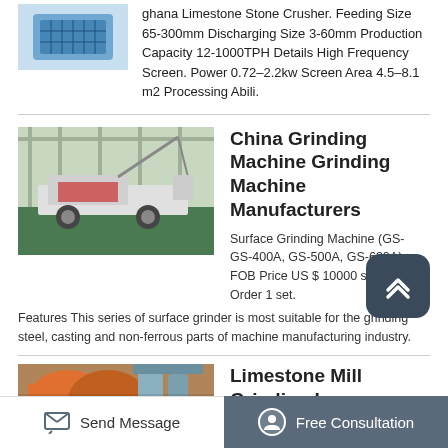ghana Limestone Stone Crusher. Feeding Size 65-300mm Discharging Size 3-60mm Production Capacity 12-1000TPH Details High Frequency Screen. Power 0.72–2.2kw Screen Area 4.5–8.1 m2 Processing Abili.
[Figure (photo): Blue plastic crate/basket product photo]
[Figure (photo): Industrial grinding machine on a truck/vehicle in a factory setting]
China Grinding Machine Grinding Machine Manufacturers
Surface Grinding Machine (GS- GS-400A, GS-500A, GS-630A) FOB Price US $ 10000 set. Min. Order 1 set. Features This series of surface grinder is most suitable for the grinding steel, casting and non-ferrous parts of machine manufacturing industry.
[Figure (photo): Limestone mill grinding machinery]
Limestone Mill Grinding In